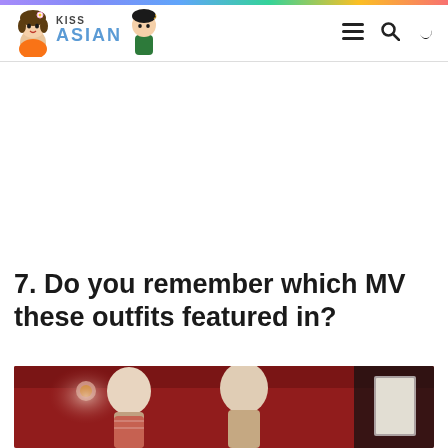KISS ASIAN
7. Do you remember which MV these outfits featured in?
[Figure (photo): Photo of mannequins in outfits displayed in a red-walled room with warm lighting]